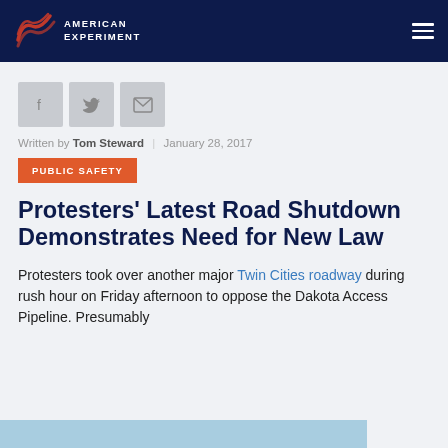American Experiment
[Figure (logo): American Experiment logo with stylized flag graphic and text]
[Figure (infographic): Social share buttons: Facebook, Twitter, Email]
Written by Tom Steward | January 28, 2017
PUBLIC SAFETY
Protesters' Latest Road Shutdown Demonstrates Need for New Law
Protesters took over another major Twin Cities roadway during rush hour on Friday afternoon to oppose the Dakota Access Pipeline. Presumably